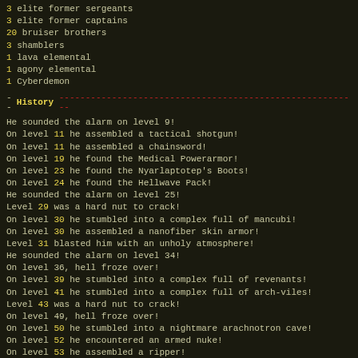3 elite former sergeants
3 elite former captains
20 bruiser brothers
3 shamblers
1 lava elemental
1 agony elemental
1 Cyberdemon
-- History
He sounded the alarm on level 9!
On level 11 he assembled a tactical shotgun!
On level 11 he assembled a chainsword!
On level 19 he found the Medical Powerarmor!
On level 23 he found the Nyarlaptotep's Boots!
On level 24 he found the Hellwave Pack!
He sounded the alarm on level 25!
Level 29 was a hard nut to crack!
On level 30 he stumbled into a complex full of mancubi!
On level 30 he assembled a nanofiber skin armor!
Level 31 blasted him with an unholy atmosphere!
He sounded the alarm on level 34!
On level 36, hell froze over!
On level 39 he stumbled into a complex full of revenants!
On level 41 he stumbled into a complex full of arch-viles!
Level 43 was a hard nut to crack!
On level 49, hell froze over!
On level 50 he stumbled into a nightmare arachnotron cave!
On level 52 he encountered an armed nuke!
On level 53 he assembled a ripper!
On level 60 he encountered an armed nuke!
On level 61 he stumbled into a nightmare demon cave!
Level 63 was a hard nut to crack!
Level 64 was a hard nut to crack!
On level 65 he encountered an armed nuke!
Level 70 blasted him with an unholy atmosphere!
Level 71 was a hard nut to crack!
On level 79 he stumbled into a complex full of mancubi!